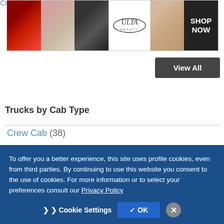Crane Truck (2)
[Figure (photo): ULTA Beauty advertisement banner with images of lips with red lipstick, makeup brush, eye with dramatic makeup, ULTA logo, close-up of dramatic eye makeup, and SHOP NOW text]
View All
Trucks by Cab Type
Crew Cab (38)
Standard Cab (7)
Trucks by Transmission Speed
To offer you a better experience, this site uses profile cookies, even from third parties. By continuing to use this website you consent to the use of cookies. For more information or to select your preferences consult our Privacy Policy
Cookie Settings
✓ OK